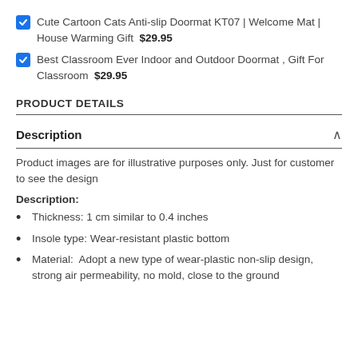Cute Cartoon Cats Anti-slip Doormat KT07 | Welcome Mat | House Warming Gift $29.95
Best Classroom Ever Indoor and Outdoor Doormat , Gift For Classroom $29.95
PRODUCT DETAILS
Description
Product images are for illustrative purposes only. Just for customer to see the design
Description:
Thickness: 1 cm similar to 0.4 inches
Insole type: Wear-resistant plastic bottom
Material:  Adopt a new type of wear-plastic non-slip design, strong air permeability, no mold, close to the ground